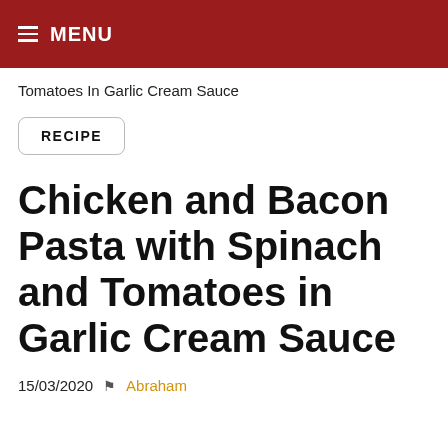≡ MENU
Tomatoes In Garlic Cream Sauce
RECIPE
Chicken and Bacon Pasta with Spinach and Tomatoes in Garlic Cream Sauce
15/03/2020  ▲  Abraham